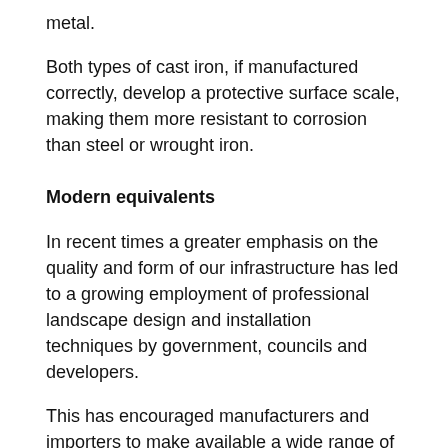metal.
Both types of cast iron, if manufactured correctly, develop a protective surface scale, making them more resistant to corrosion than steel or wrought iron.
Modern equivalents
In recent times a greater emphasis on the quality and form of our infrastructure has led to a growing employment of professional landscape design and installation techniques by government, councils and developers.
This has encouraged manufacturers and importers to make available a wide range of well designed and robust roading and footpath products using various combinations of coated steel, cast aluminium and stainless steel, in addition to both